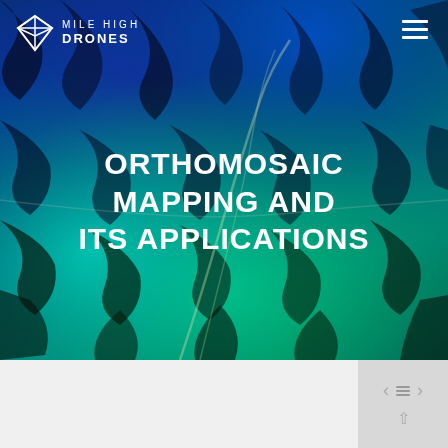[Figure (photo): Aerial orthomosaic map image with false-color rendering showing terrain features. Blue tones dominate the upper portion transitioning to cyan and green in the lower portions, with dark tree/vegetation patterns throughout. Serves as the hero background image.]
MILE HIGH DRONES
ORTHOMOSAIC MAPPING AND ITS APPLICATIONS